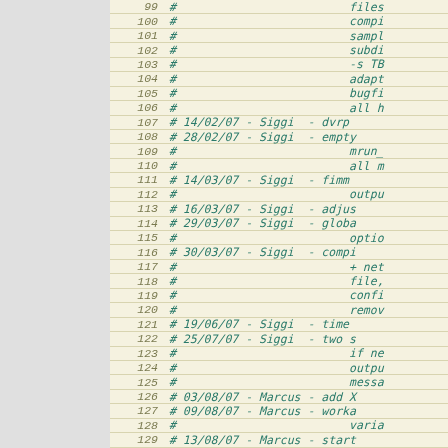[Figure (screenshot): Source code viewer showing line numbers 99-131 with changelog comments in a monospace italic teal font on a cream/beige background. Lines contain dates, authors (Siggi, Marcus), and brief change descriptions.]